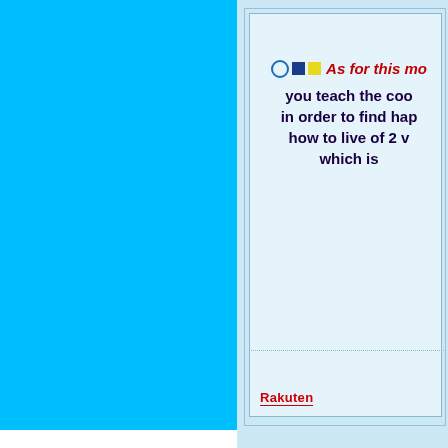[Figure (illustration): Solid cyan/sky-blue rectangle occupying the left portion of the page]
○■□ As for this mo... you teach the coo... in order to find hap... how to live of 2 v... which is...
[Figure (logo): Rakuten logo in red text with underline]